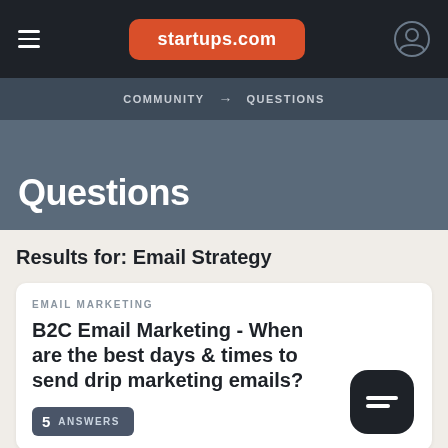startups.com
COMMUNITY → QUESTIONS
Questions
Results for: Email Strategy
EMAIL MARKETING
B2C Email Marketing - When are the best days & times to send drip marketing emails?
5  ANSWERS